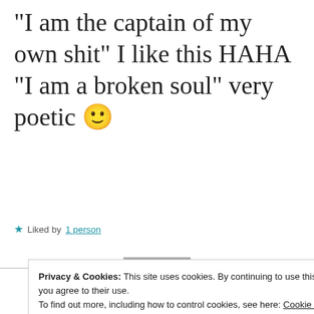“I am the captain of my own shit” I like this HAHA “I am a broken soul” very poetic 🙂
★ Liked by 1 person
REPLY
Privacy & Cookies: This site uses cookies. By continuing to use this website, you agree to their use.
To find out more, including how to control cookies, see here: Cookie Policy
Close and accept
7:48 AM